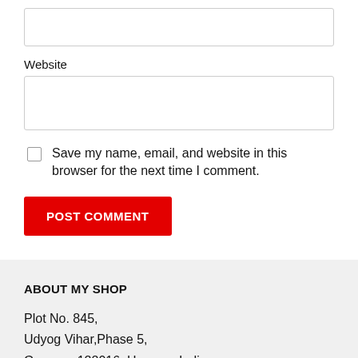(empty input field at top)
Website
Save my name, email, and website in this browser for the next time I comment.
POST COMMENT
ABOUT MY SHOP
Plot No. 845,
Udyog Vihar,Phase 5,
Gurgaon 122016, Haryana India
Phone: (+91)124-4383225